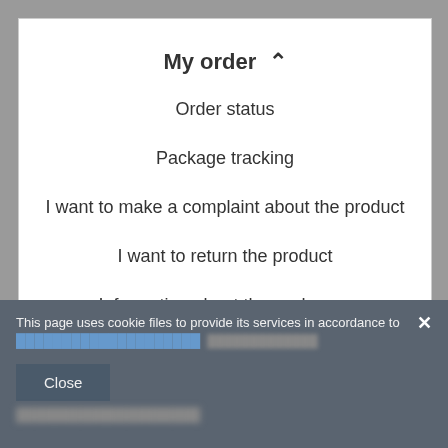My order ^
Order status
Package tracking
I want to make a complaint about the product
I want to return the product
Information about the exchange
Contact
This page uses cookie files to provide its services in accordance to
Close